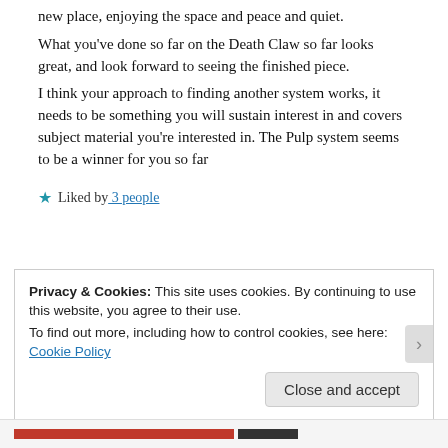new place, enjoying the space and peace and quiet. What you've done so far on the Death Claw so far looks great, and look forward to seeing the finished piece. I think your approach to finding another system works, it needs to be something you will sustain interest in and covers subject material you're interested in. The Pulp system seems to be a winner for you so far
★ Liked by 3 people
Privacy & Cookies: This site uses cookies. By continuing to use this website, you agree to their use. To find out more, including how to control cookies, see here: Cookie Policy